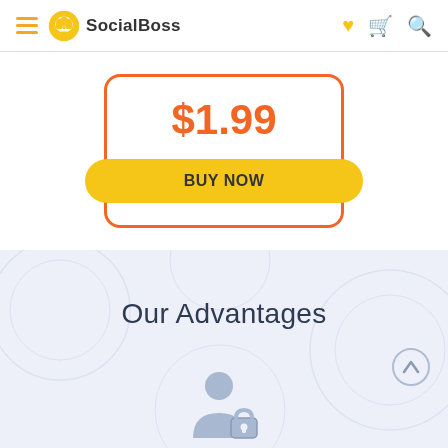SocialBoss
$1.99
BUY NOW
Our Advantages
[Figure (illustration): Person with lock icon, light blue silhouette of a person with a padlock, representing security/privacy]